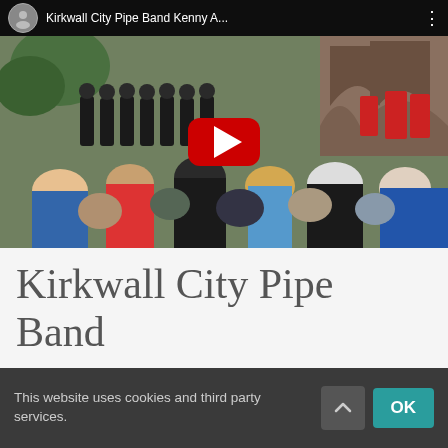[Figure (screenshot): YouTube video thumbnail showing Kirkwall City Pipe Band performing in front of a cathedral with a crowd watching. A YouTube play button overlay is visible in the center. The top bar shows the channel name 'Kirkwall City Pipe Band Kenny A...' with a channel icon and three-dot menu.]
Kirkwall City Pipe Band
Kirkwall City Pipe Band hold their final parade of the season on Broad Street on the Saturday evening of the Festival, which this year will be 8 September.
This website uses cookies and third party services.